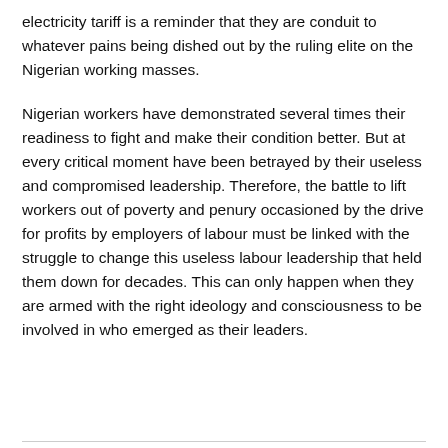electricity tariff is a reminder that they are conduit to whatever pains being dished out by the ruling elite on the Nigerian working masses.
Nigerian workers have demonstrated several times their readiness to fight and make their condition better. But at every critical moment have been betrayed by their useless and compromised leadership. Therefore, the battle to lift workers out of poverty and penury occasioned by the drive for profits by employers of labour must be linked with the struggle to change this useless labour leadership that held them down for decades. This can only happen when they are armed with the right ideology and consciousness to be involved in who emerged as their leaders.